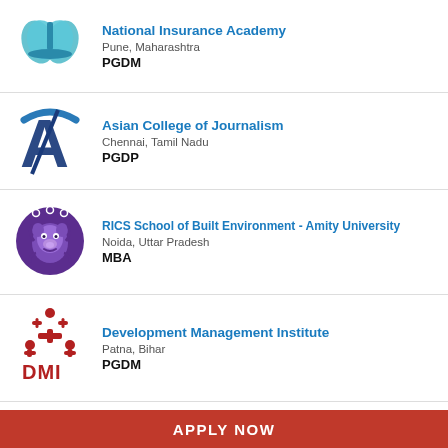National Insurance Academy | Pune, Maharashtra | PGDM
Asian College of Journalism | Chennai, Tamil Nadu | PGDP
RICS School of Built Environment - Amity University | Noida, Uttar Pradesh | MBA
Development Management Institute | Patna, Bihar | PGDM
Krea University | Hyderabad, Andhra Pradesh | PhD
APPLY NOW